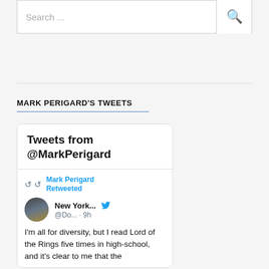[Figure (screenshot): Search bar with text 'Search ...' and a magnifying glass icon on the right]
MARK PERIGARD'S TWEETS
[Figure (screenshot): Twitter widget showing 'Tweets from @MarkPerigard'. A retweet by Mark Perigard of New York... @Do... · 9h. Tweet text: I'm all for diversity, but I read Lord of the Rings five times in high-school, and it's clear to me that the (continues below)]